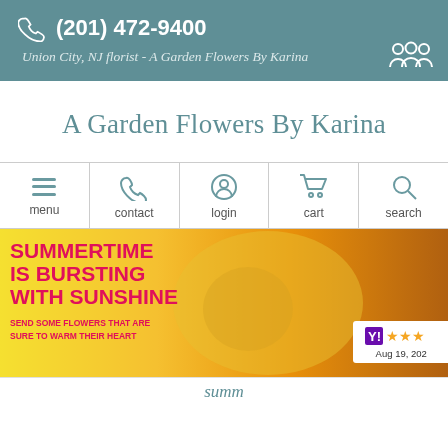(201) 472-9400
Union City, NJ florist - A Garden Flowers By Karina
A Garden Flowers By Karina
[Figure (infographic): Navigation bar with menu, contact, login, cart, search icons in teal]
[Figure (infographic): Summertime banner with yellow floral background. Text: SUMMERTIME IS BURSTING WITH SUNSHINE. SEND SOME FLOWERS THAT ARE SURE TO WARM THEIR HEART. Rating badge showing stars and Aug 19, 202...]
SUMMERTIME IS BURSTING WITH SUNSHINE
SEND SOME FLOWERS THAT ARE SURE TO WARM THEIR HEART
Aug 19, 20...